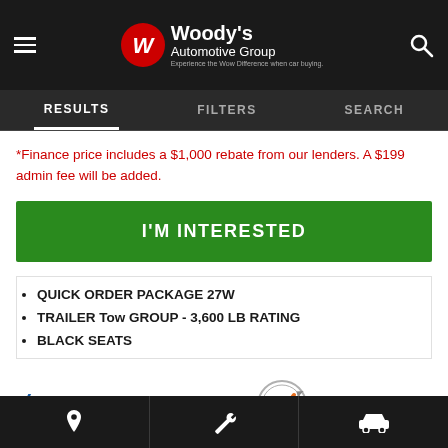Woody's Automotive Group - Experience the Wow Difference when car buying.
RESULTS | FILTERS | SEARCH
*Finance price includes a $1,000 rebate from our lenders. A $199 admin fee will be added.
I'M INTERESTED
QUICK ORDER PACKAGE 27W
TRAILER Tow GROUP - 3,600 LB RATING
BLACK SEATS
[Figure (logo): AutoCheck logo and a checkmark shield icon]
Location | Wrench (service) | Car icons navigation bar